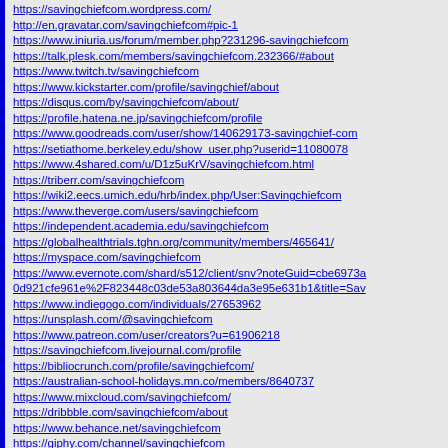https://savingchiefcom.wordpress.com/
http://en.gravatar.com/savingchiefcom#pic-1
https://www.iniuria.us/forum/member.php?231296-savingchiefcom
https://talk.plesk.com/members/savingchiefcom.232366/#about
https://www.twitch.tv/savingchiefcom
https://www.kickstarter.com/profile/savingchief/about
https://disqus.com/by/savingchiefcom/about/
https://profile.hatena.ne.jp/savingchiefcom/profile
https://www.goodreads.com/user/show/140629173-savingchief-com
https://setiathome.berkeley.edu/show_user.php?userid=11080078
https://www.4shared.com/u/D1z5uKrV/savingchiefcom.html
https://triberr.com/savingchiefcom
https://wiki2.eecs.umich.edu/hrb/index.php/User:Savingchiefcom
https://www.theverge.com/users/savingchiefcom
https://independent.academia.edu/savingchiefcom
https://globalhealthtrials.tghn.org/community/members/465641/
https://myspace.com/savingchiefcom
https://www.evernote.com/shard/s512/client/snv?noteGuid=cbe6973a0d921cfe961e%2F823448c03de53a803644da3e95e631b1&title=Sav
https://www.indiegogo.com/individuals/27653962
https://unsplash.com/@savingchiefcom
https://www.patreon.com/user/creators?u=61906218
https://savingchiefcom.livejournal.com/profile
https://bibliocrunch.com/profile/savingchiefcom/
https://australian-school-holidays.mn.co/members/8640737
https://www.mixcloud.com/savingchiefcom/
https://dribbble.com/savingchiefcom/about
https://www.behance.net/savingchiefcom
https://giphy.com/channel/savingchiefcom
https://filesharingtalk.com/members/548803-savingchiefcom